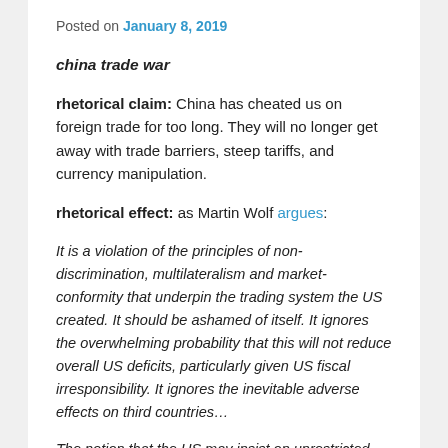Posted on January 8, 2019
china trade war
rhetorical claim: China has cheated us on foreign trade for too long. They will no longer get away with trade barriers, steep tariffs, and currency manipulation.
rhetorical effect: as Martin Wolf argues:
It is a violation of the principles of non-discrimination, multilateralism and market-conformity that underpin the trading system the US created. It should be ashamed of itself. It ignores the overwhelming probability that this will not reduce overall US deficits, particularly given US fiscal irresponsibility. It ignores the inevitable adverse effects on third countries…
The notion that the US may insist on unrestricted access for investment in China while reserving the right to restrict Chinese investment, as it wishes, must also be unacceptable. Finally, the idea that the US will be judge, jury and executioner, while